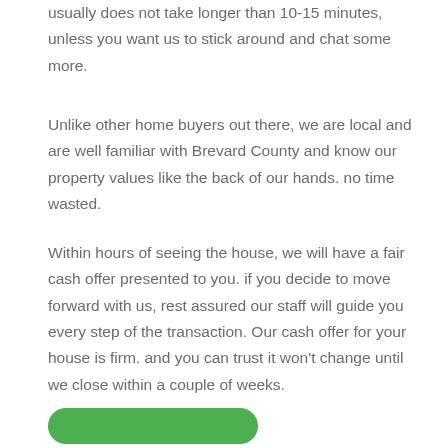usually does not take longer than 10-15 minutes, unless you want us to stick around and chat some more.
Unlike other home buyers out there, we are local and are well familiar with Brevard County and know our property values like the back of our hands. no time wasted.
Within hours of seeing the house, we will have a fair cash offer presented to you. if you decide to move forward with us, rest assured our staff will guide you every step of the transaction. Our cash offer for your house is firm. and you can trust it won't change until we close within a couple of weeks.